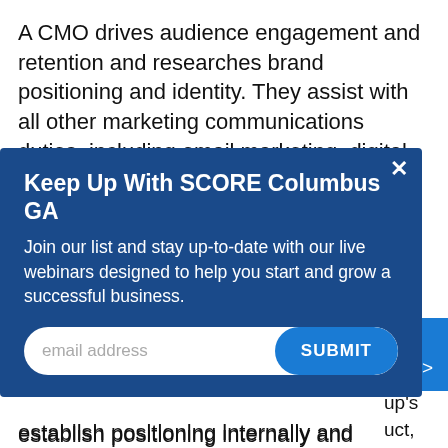A CMO drives audience engagement and retention and researches brand positioning and identity. They assist with all other marketing communications duties, including email marketing, digital marketing, PR and branding, managing PPC and other
[Figure (screenshot): Modal popup titled 'Keep Up With SCORE Columbus GA' with text 'Join our list and stay up-to-date with our live webinars designed to help you start and grow a successful business.' and an email input field with a SUBMIT button.]
establish positioning internally and externally and create a pricing structure.
Sometimes the creator of the product is the founder,